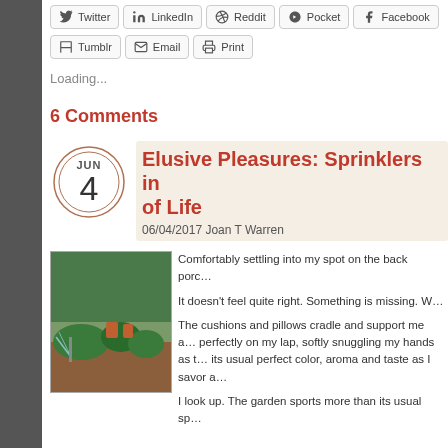Twitter
LinkedIn
Reddit
Pocket
Facebook
Tumblr
Email
Print
Loading...
6 Comments
Elusive Pleasures: Sprinklers in… of Life
06/04/2017 Joan T Warren
[Figure (photo): Outdoor garden scene with sprinklers, orange chairs, and green shrubs]
Comfortably settling into my spot on the back porc…
It doesn’t feel quite right. Something is missing. W…
The cushions and pillows cradle and support me a… perfectly on my lap, softly snuggling my hands as t… its usual perfect color, aroma and taste as I savor a…
I look up. The garden sports more than its usual sp…